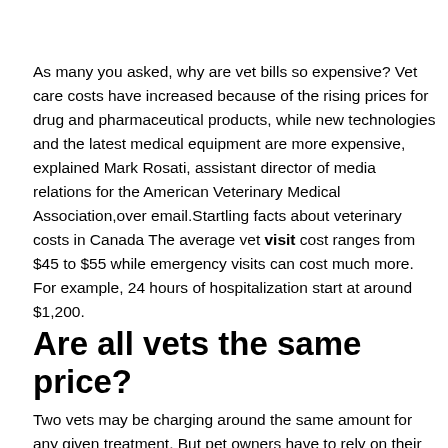As many you asked, why are vet bills so expensive? Vet care costs have increased because of the rising prices for drug and pharmaceutical products, while new technologies and the latest medical equipment are more expensive, explained Mark Rosati, assistant director of media relations for the American Veterinary Medical Association,over email.Startling facts about veterinary costs in Canada The average vet visit cost ranges from $45 to $55 while emergency visits can cost much more. For example, 24 hours of hospitalization start at around $1,200.
Are all vets the same price?
Two vets may be charging around the same amount for any given treatment. But pet owners have to rely on their vets being honest about what treatments are actually required. An